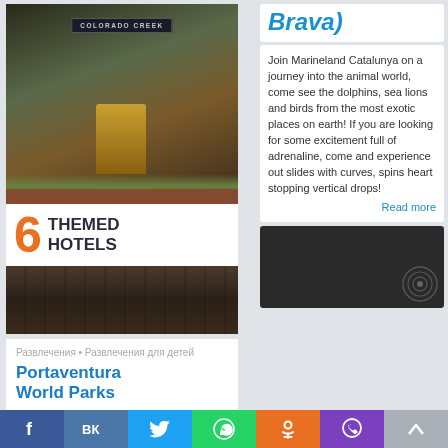[Figure (photo): Photo of Colorado Creek hotel exterior with a bronze deer statue in front, illuminated at night]
6 THEMED HOTELS
[Figure (photo): Dark wood floor/surface texture photo]
Развлечения • Развлечения для детей
Portaventura World Parks
Are you familiar with the Portaventura World Parks?
Brava)
Join Marineland Catalunya on a journey into the animal world, come see the dolphins, sea lions and birds from the most exotic places on earth! If you are looking for some excitement full of adrenaline, come and experience out slides with curves, spins heart stopping vertical drops!
Read more
[Figure (screenshot): Dark card with circular logo/icon in bottom right corner]